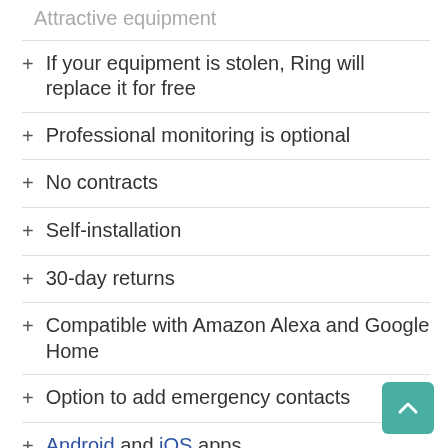If your equipment is stolen, Ring will replace it for free
Professional monitoring is optional
No contracts
Self-installation
30-day returns
Compatible with Amazon Alexa and Google Home
Option to add emergency contacts
Android and iOS apps
Indoor and outdoor